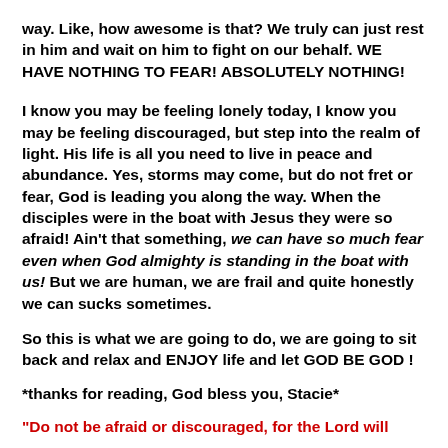way. Like, how awesome is that? We truly can just rest in him and wait on him to fight on our behalf. WE HAVE NOTHING TO FEAR! ABSOLUTELY NOTHING!
I know you may be feeling lonely today, I know you may be feeling discouraged, but step into the realm of light. His life is all you need to live in peace and abundance. Yes, storms may come, but do not fret or fear, God is leading you along the way. When the disciples were in the boat with Jesus they were so afraid! Ain't that something, we can have so much fear even when God almighty is standing in the boat with us! But we are human, we are frail and quite honestly we can sucks sometimes.
So this is what we are going to do, we are going to sit back and relax and ENJOY life and let GOD BE GOD !
*thanks for reading, God bless you, Stacie*
"Do not be afraid or discouraged, for the Lord will